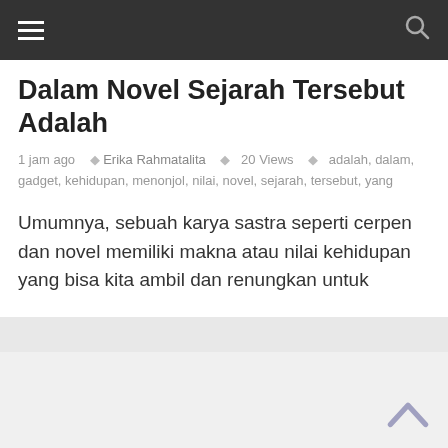Navigation bar with hamburger menu and search icon
Dalam Novel Sejarah Tersebut Adalah
1 jam ago  Erika Rahmatalita  20 Views  adalah, dalam, gadget, kehidupan, menonjol, nilai, novel, sejarah, tersebut, yang
Umumnya, sebuah karya sastra seperti cerpen dan novel memiliki makna atau nilai kehidupan yang bisa kita ambil dan renungkan untuk